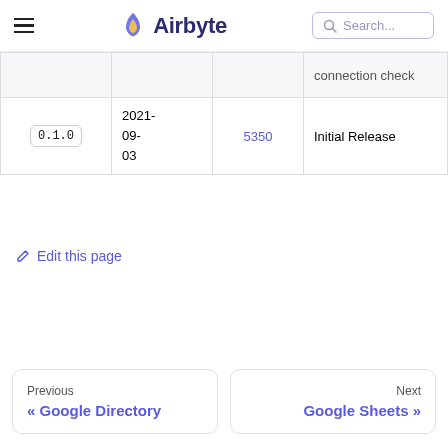Airbyte — Search
|  |  |  | connection check |
| --- | --- | --- | --- |
| 0.1.0 | 2021-09-03 | 5350 | Initial Release |
✏ Edit this page
Previous
« Google Directory
Next
Google Sheets »